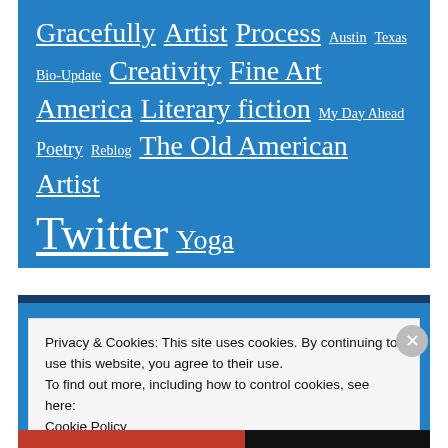Gracefully Artist Process Austin Texas Bio-Update Creativity Fine Art America Literary fiction My Day Ahead Poetry Reblog The Old American Artist Twitter Yoga
Privacy & Cookies: This site uses cookies. By continuing to use this website, you agree to their use. To find out more, including how to control cookies, see here: Cookie Policy
Close and accept